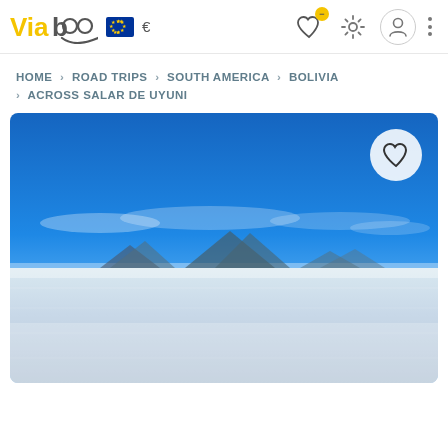Viaboo — navigation header with EU flag, euro sign, heart icon with badge, settings icon, profile icon, and more menu
HOME › ROAD TRIPS › SOUTH AMERICA › BOLIVIA › ACROSS SALAR DE UYUNI
[Figure (photo): Panoramic photo of Salar de Uyuni, Bolivia — vast white salt flat in the foreground, distant mountains silhouetted on the horizon, and a deep blue sky with light clouds above. A circular white heart/favorite button overlay appears in the top-right corner of the image.]